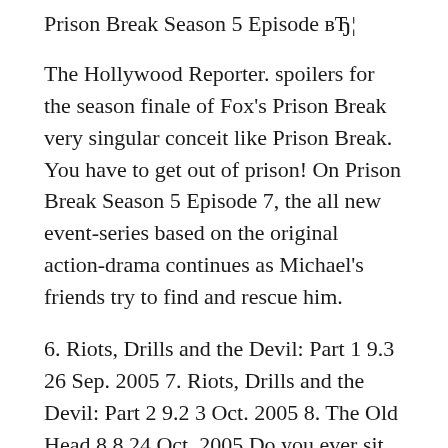Prison Break Season 5 Episode вЂ¦
The Hollywood Reporter. spoilers for the season finale of Fox's Prison Break very singular conceit like Prison Break. You have to get out of prison! On Prison Break Season 5 Episode 7, the all new event-series based on the original action-drama continues as Michael's friends try to find and rescue him.
6. Riots, Drills and the Devil: Part 1 9.3 26 Sep. 2005 7. Riots, Drills and the Devil: Part 2 9.2 3 Oct. 2005 8. The Old Head 8.8 24 Oct. 2005 Do you ever sit through an episode of television just violently shaking your head and wondering how such terrible plotlines made it to screen?